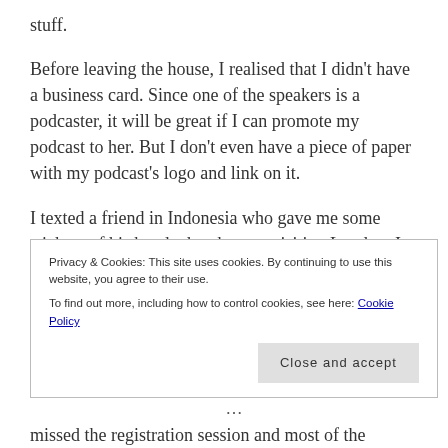stuff.
Before leaving the house, I realised that I didn't have a business card. Since one of the speakers is a podcaster, it will be great if I can promote my podcast to her. But I don't even have a piece of paper with my podcast's logo and link on it.
I texted a friend in Indonesia who gave me some stickers of his band when he was visiting London. I asked: ‘hey, can I use your band’s sticker as a substitute for my business card? I won’t say that it’s
Privacy & Cookies: This site uses cookies. By continuing to use this website, you agree to their use.
To find out more, including how to control cookies, see here: Cookie Policy
missed the registration session and most of the